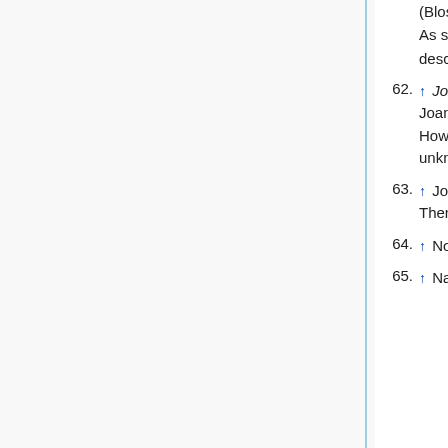(Blossom) Howland (sixth generation from John Howland). As such, it is unknown if there are any living mtDNA descendants.
62. ↑ John Howland of the Mayflower, vol. 2 was unable to trace Joanna Howland, daughter of John & Joanna (Shove) Howland, after her marriage to "Mr. James Lewes." Thus it is unknown if there are any living mtDNA descendants.
63. ↑ John and Mary (Crocker) Howland only had two sons. Therefor, no living mtDNA line.
64. ↑ None of her daughters had any daughters.
65. ↑ Nathaniel m2) Abigail CHURCHILL Billington, no children.